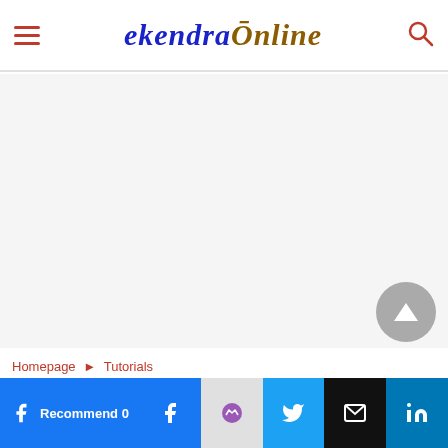ekendraOnline — navigation header with hamburger menu and search icon
[Figure (other): Large white/light grey blank content area (advertisement or empty content region)]
[Figure (other): Back-to-top button: grey circle with upward-pointing triangle arrow]
Homepage ► Tutorials
Social share bar: Recommend 0 (Facebook), Facebook, Messenger, Twitter, Email, LinkedIn